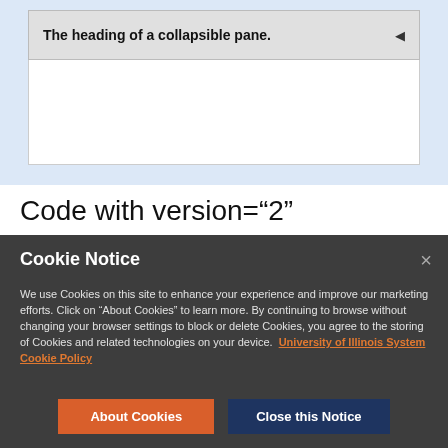[Figure (screenshot): A collapsible pane UI element showing heading 'The heading of a collapsible pane.' with a collapse arrow, displayed inside a light blue background section with a white content area below the heading.]
Code with version="2"
[collapse-pane
version="2"
   l     "    bl  "
Cookie Notice
We use Cookies on this site to enhance your experience and improve our marketing efforts. Click on "About Cookies" to learn more. By continuing to browse without changing your browser settings to block or delete Cookies, you agree to the storing of Cookies and related technologies on your device. University of Illinois System Cookie Policy
About Cookies   Close this Notice